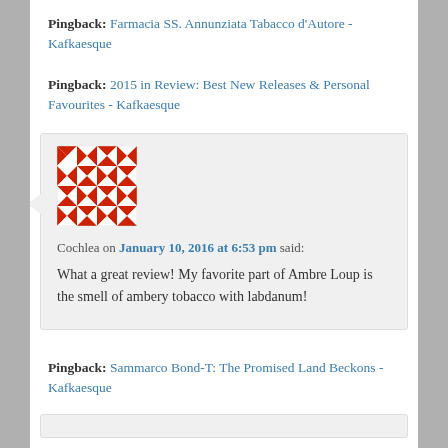Pingback: Farmacia SS. Annunziata Tabacco d'Autore - Kafkaesque
Pingback: 2015 in Review: Best New Releases & Personal Favourites - Kafkaesque
[Figure (illustration): Red and white geometric quilt-pattern avatar icon for user Cochlea]
Cochlea on January 10, 2016 at 6:53 pm said:
What a great review! My favorite part of Ambre Loup is the smell of ambery tobacco with labdanum!
Pingback: Sammarco Bond-T: The Promised Land Beckons - Kafkaesque